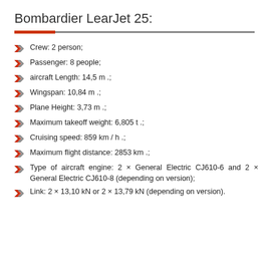Bombardier LearJet 25:
Crew: 2 person;
Passenger: 8 people;
aircraft Length: 14,5 m .;
Wingspan: 10,84 m .;
Plane Height: 3,73 m .;
Maximum takeoff weight: 6,805 t .;
Cruising speed: 859 km / h .;
Maximum flight distance: 2853 km .;
Type of aircraft engine: 2 × General Electric CJ610-6 and 2 × General Electric CJ610-8 (depending on version);
Link: 2 × 13,10 kN or 2 × 13,79 kN (depending on version).